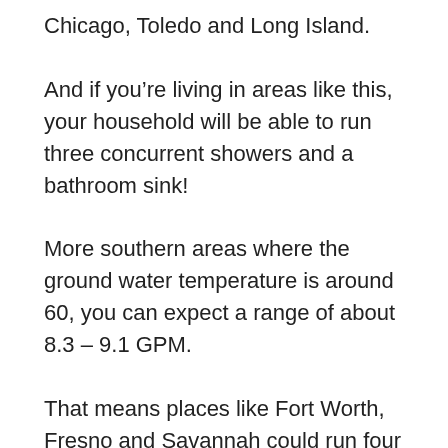Chicago, Toledo and Long Island.
And if you’re living in areas like this, your household will be able to run three concurrent showers and a bathroom sink!
More southern areas where the ground water temperature is around 60, you can expect a range of about 8.3 – 9.1 GPM.
That means places like Fort Worth, Fresno and Savannah could run four showers for families of four with ease! You’ll even likely be able to run a bathroom sink or low-flow sink as well!